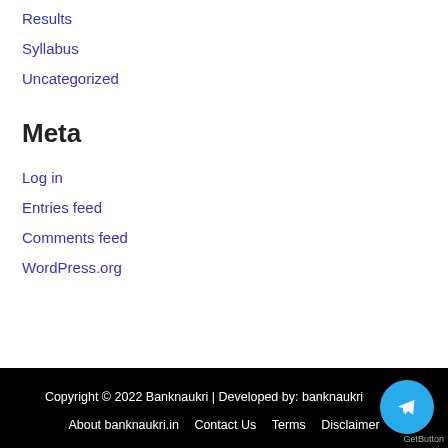Results
Syllabus
Uncategorized
Meta
Log in
Entries feed
Comments feed
WordPress.org
Copyright © 2022 Banknaukri | Developed by: banknaukri
About banknaukri.in   Contact Us   Terms   Disclaimer